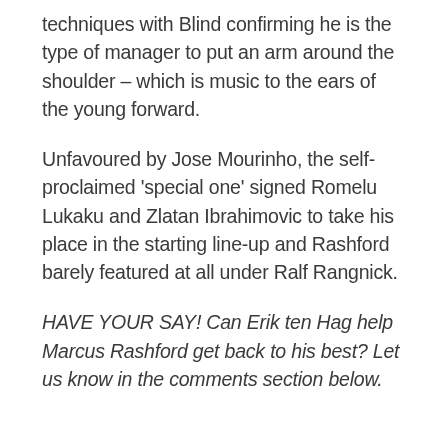techniques with Blind confirming he is the type of manager to put an arm around the shoulder – which is music to the ears of the young forward.
Unfavoured by Jose Mourinho, the self-proclaimed 'special one' signed Romelu Lukaku and Zlatan Ibrahimovic to take his place in the starting line-up and Rashford barely featured at all under Ralf Rangnick.
HAVE YOUR SAY! Can Erik ten Hag help Marcus Rashford get back to his best? Let us know in the comments section below.